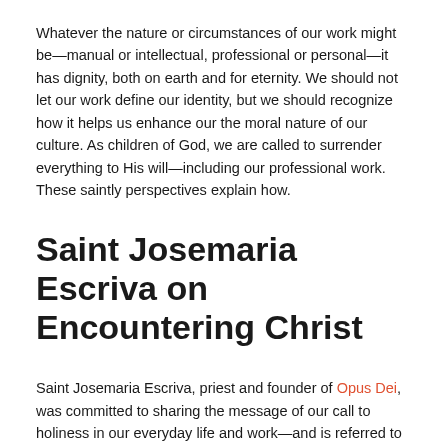Whatever the nature or circumstances of our work might be—manual or intellectual, professional or personal—it has dignity, both on earth and for eternity. We should not let our work define our identity, but we should recognize how it helps us enhance our the moral nature of our culture. As children of God, we are called to surrender everything to His will—including our professional work. These saintly perspectives explain how.
Saint Josemaria Escriva on Encountering Christ
Saint Josemaria Escriva, priest and founder of Opus Dei, was committed to sharing the message of our call to holiness in our everyday life and work—and is referred to as the Saint of Ordinary Life. Reflecting the mission of Opus Dei, he said, "Your ordinary contact with God takes place where your fellow men, your